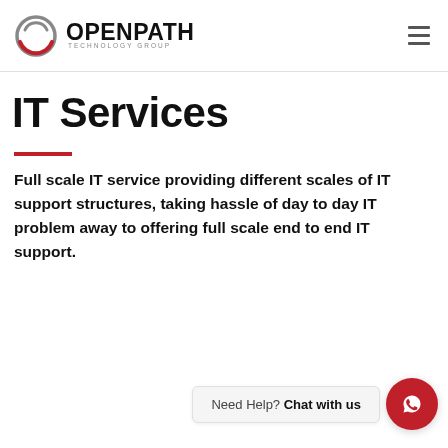OPENPATH TECHNOLOGY GROUP
IT Services
Full scale IT service providing different scales of IT support structures, taking hassle of day to day IT problem away to offering full scale end to end IT support.
Need Help? Chat with us